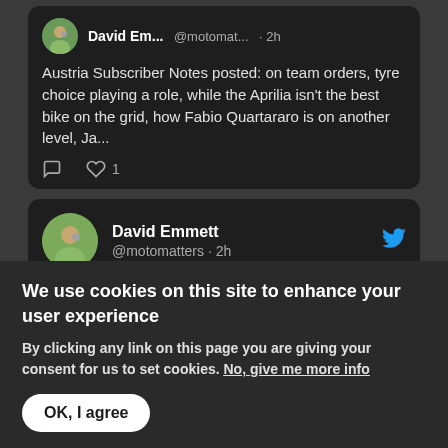[Figure (screenshot): Partial Twitter/X tweet card showing David Em... @motomat... · 2h with tweet text: Austria Subscriber Notes posted: on team orders, tyre choice playing a role, while the Aprilia isn't the best bike on the grid, how Fabio Quartararo is on another level, Ja... with reply icon and heart icon showing 1 like]
[Figure (screenshot): Expanded Twitter/X tweet card showing David Emmett @motomatters · 2h with Twitter bird logo, and tweet text: Austria Subscriber Notes posted: on team orders, tyre choice playing a role, while the Aprilia isn't the best bike...]
We use cookies on this site to enhance your user experience
By clicking any link on this page you are giving your consent for us to set cookies. No, give me more info
OK, I agree